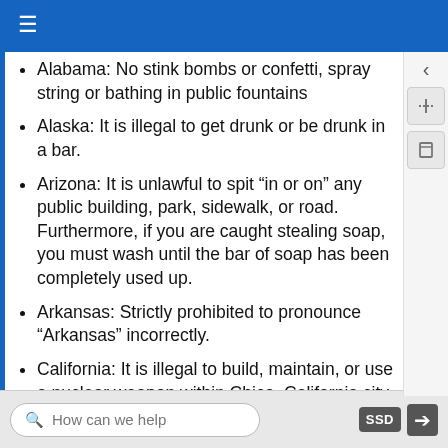Alabama: No stink bombs or confetti, spray string or bathing in public fountains
Alaska: It is illegal to get drunk or be drunk in a bar.
Arizona: It is unlawful to spit “in or on” any public building, park, sidewalk, or road. Furthermore, if you are caught stealing soap, you must wash until the bar of soap has been completely used up.
Arkansas: Strictly prohibited to pronounce “Arkansas” incorrectly.
California: It is illegal to build, maintain, or use a nuclear weapon within Chico, California city limits.
Colorado: It is illegal to drive a black car on